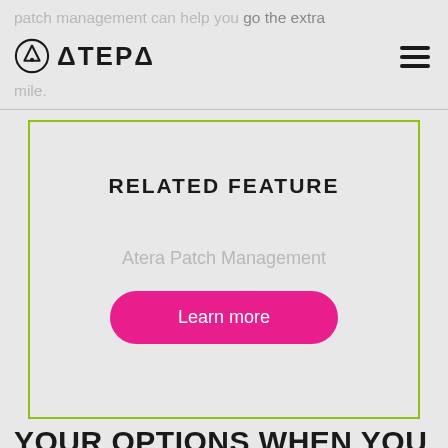patch management can help you go the extra mile.
[Figure (logo): Atera logo with icon and stylized text ATERA]
RELATED FEATURE
Atera Patch Management
Learn more
YOUR OPTIONS WHEN YOU UNCOVER A VULNERABILITY